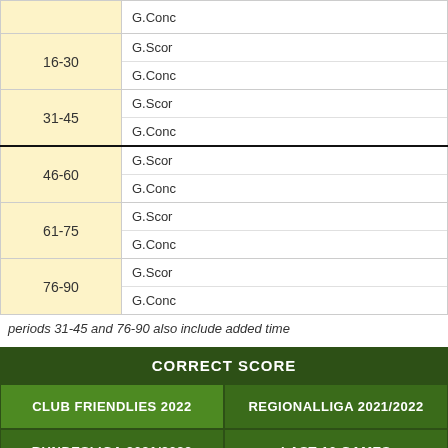| Period | Stat |
| --- | --- |
|  | G.Conc |
| 16-30 | G.Scor
G.Conc |
| 31-45 | G.Scor
G.Conc |
| 46-60 | G.Scor
G.Conc |
| 61-75 | G.Scor
G.Conc |
| 76-90 | G.Scor
G.Conc |
periods 31-45 and 76-90 also include added time
CORRECT SCORE
CLUB FRIENDLIES 2022
REGIONALLIGA 2021/2022
BUNDESLIGA 2021/2022
LAST 10 GAMES
Astoria Walldorf